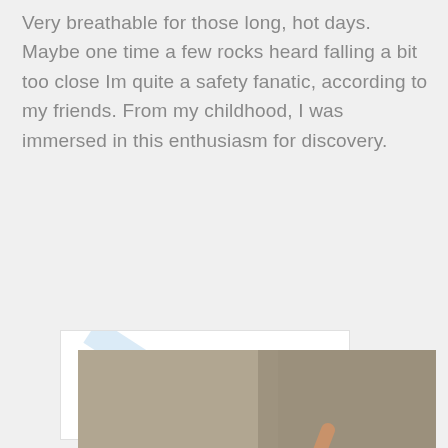Very breathable for those long, hot days. Maybe one time a few rocks heard falling a bit too close Im quite a safety fanatic, according to my friends. From my childhood, I was immersed in this enthusiasm for discovery.
[Figure (photo): A rock climber in a blue shirt reaching up a rock face, viewed from below. A dark blue PDF label overlay appears in the bottom right. Behind the main photo is a white card with a faint diagonal line, overlapping the climbing photo.]